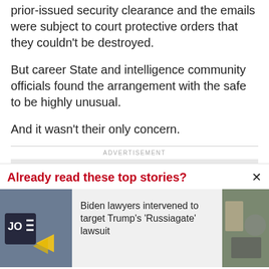prior-issued security clearance and the emails were subject to court protective orders that they couldn't be destroyed.
But career State and intelligence community officials found the arrangement with the safe to be highly unusual.
And it wasn't their only concern.
ADVERTISEMENT
Already read these top stories?
Biden lawyers intervened to target Trump's 'Russiagate' lawsuit